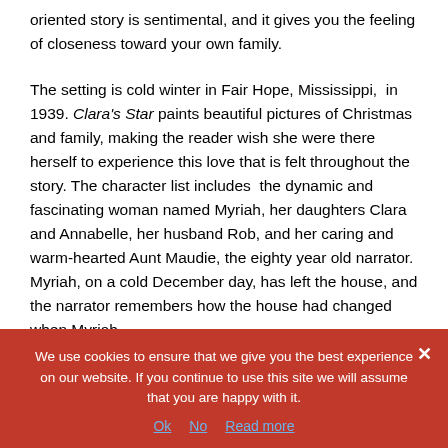oriented story is sentimental, and it gives you the feeling of closeness toward your own family.
The setting is cold winter in Fair Hope, Mississippi,  in 1939. Clara's Star paints beautiful pictures of Christmas and family, making the reader wish she were there herself to experience this love that is felt throughout the story. The character list includes  the dynamic and fascinating woman named Myriah, her daughters Clara and Annabelle, her husband Rob, and her caring and warm-hearted Aunt Maudie, the eighty year old narrator.  Myriah, on a cold December day, has left the house, and the narrator remembers how the house had changed when Myriah
We use cookies to ensure that we give you the best experience on our website. If you continue to use this site we will assume that you are happy with it.